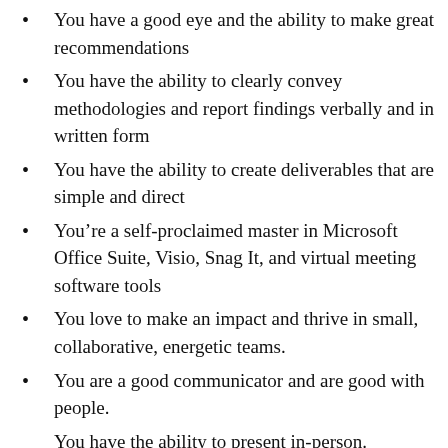You have a good eye and the ability to make great recommendations
You have the ability to clearly convey methodologies and report findings verbally and in written form
You have the ability to create deliverables that are simple and direct
You’re a self-proclaimed master in Microsoft Office Suite, Visio, Snag It, and virtual meeting software tools
You love to make an impact and thrive in small, collaborative, energetic teams.
You are a good communicator and are good with people.
You have the ability to present in-person.